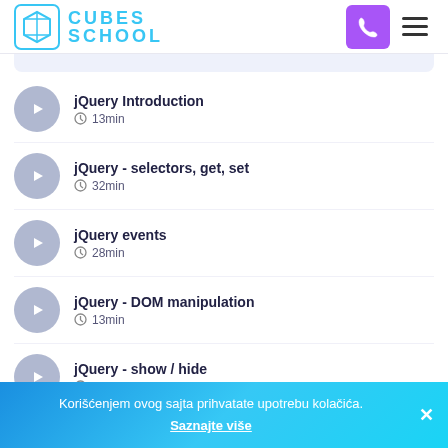[Figure (logo): Cubes School logo with cube icon and blue text]
jQuery Introduction
13min
jQuery - selectors, get, set
32min
jQuery events
28min
jQuery - DOM manipulation
13min
jQuery - show / hide
Korišćenjem ovog sajta prihvatate upotrebu kolačića.
Saznajte više